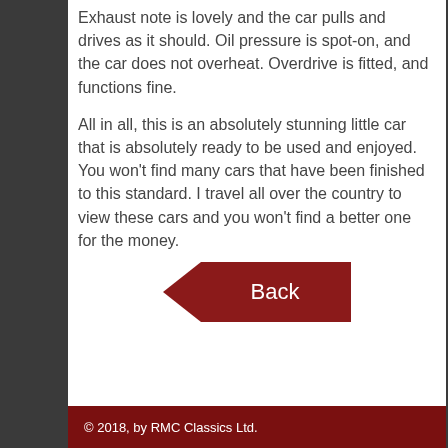Exhaust note is lovely and the car pulls and drives as it should. Oil pressure is spot-on, and the car does not overheat. Overdrive is fitted, and functions fine.
All in all, this is an absolutely stunning little car that is absolutely ready to be used and enjoyed. You won't find many cars that have been finished to this standard. I travel all over the country to view these cars and you won't find a better one for the money.
[Figure (other): A dark red arrow-shaped Back button pointing left with white text 'Back']
© 2018, by RMC Classics Ltd.